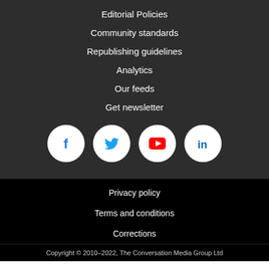Editorial Policies
Community standards
Republishing guidelines
Analytics
Our feeds
Get newsletter
[Figure (infographic): Four social media icon circles: Facebook (blue f), Twitter (blue bird), YouTube (red play button), LinkedIn (blue in)]
Privacy policy
Terms and conditions
Corrections
Copyright © 2010–2022, The Conversation Media Group Ltd